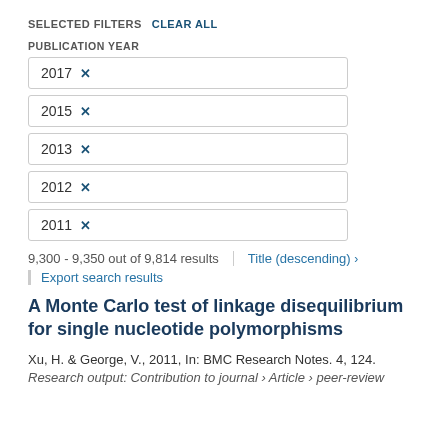SELECTED FILTERS  CLEAR ALL
PUBLICATION YEAR
2017 ×
2015 ×
2013 ×
2012 ×
2011 ×
9,300 - 9,350 out of 9,814 results   Title (descending) ›
Export search results
A Monte Carlo test of linkage disequilibrium for single nucleotide polymorphisms
Xu, H. & George, V., 2011, In: BMC Research Notes. 4, 124.
Research output: Contribution to journal › Article › peer-review